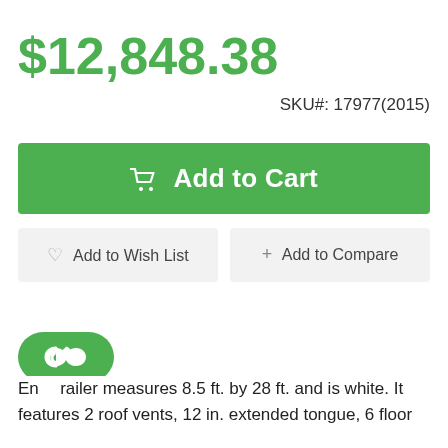$12,848.38
SKU#: 17977(2015)
Add to Cart
Add to Wish List
Add to Compare
En... railer measures 8.5 ft. by 28 ft. and is white. It features 2 roof vents, 12 in. extended tongue, 6 floor